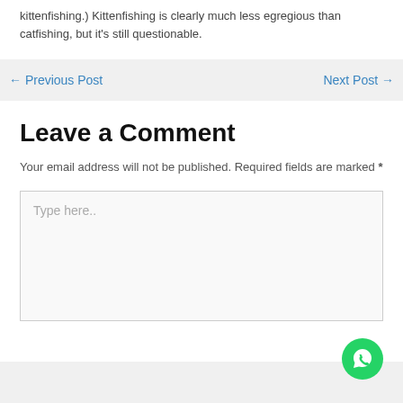kittenfishing.) Kittenfishing is clearly much less egregious than catfishing, but it's still questionable.
← Previous Post
Next Post →
Leave a Comment
Your email address will not be published. Required fields are marked *
Type here..